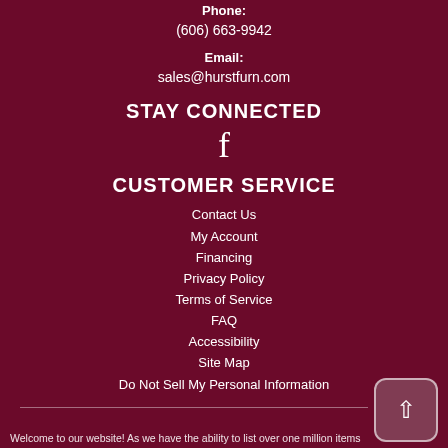Phone:
(606) 663-9942
Email:
sales@hurstfurn.com
STAY CONNECTED
[Figure (other): Facebook icon (f logo)]
CUSTOMER SERVICE
Contact Us
My Account
Financing
Privacy Policy
Terms of Service
FAQ
Accessibility
Site Map
Do Not Sell My Personal Information
Welcome to our website! As we have the ability to list over one million items